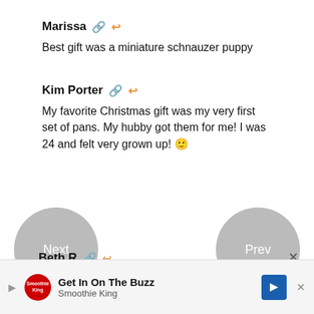Marissa 🔗 ↩
Best gift was a miniature schnauzer puppy
Kim Porter 🔗 ↩
My favorite Christmas gift was my very first set of pans. My hubby got them for me! I was 24 and felt very grown up! 🙂
Next
Prev
Beth R 🔗 ↩
[Figure (screenshot): Advertisement banner for Smoothie King — Get In On The Buzz]
x